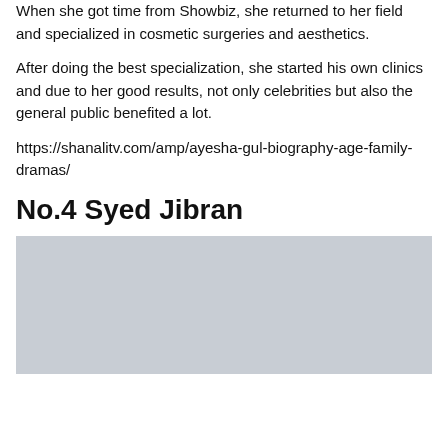When she got time from Showbiz, she returned to her field and specialized in cosmetic surgeries and aesthetics.
After doing the best specialization, she started his own clinics and due to her good results, not only celebrities but also the general public benefited a lot.
https://shanalitv.com/amp/ayesha-gul-biography-age-family-dramas/
No.4 Syed Jibran
[Figure (photo): Gray placeholder image for Syed Jibran]